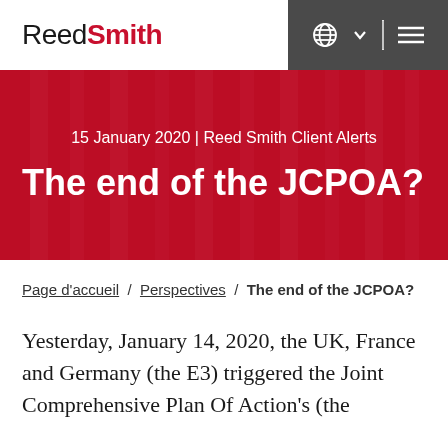Reed Smith
15 January 2020 | Reed Smith Client Alerts
The end of the JCPOA?
Page d'accueil / Perspectives / The end of the JCPOA?
Yesterday, January 14, 2020, the UK, France and Germany (the E3) triggered the Joint Comprehensive Plan Of Action's (the